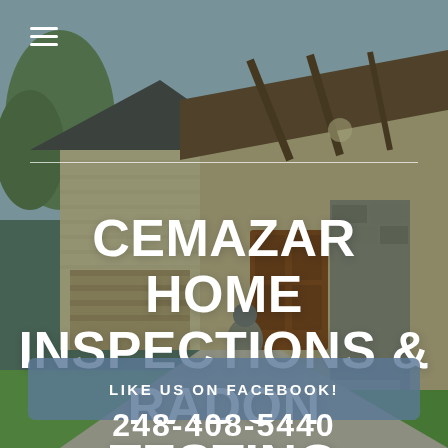[Figure (photo): Background photo of a craftsman-style house exterior with wood beam porch, stone accents, wooden garage door, and front entrance steps with green lawn]
≡
CEMAZAR HOME INSPECTIONS & RADON TESTING
LIKE US ON FACEBOOK!
248-408-5440